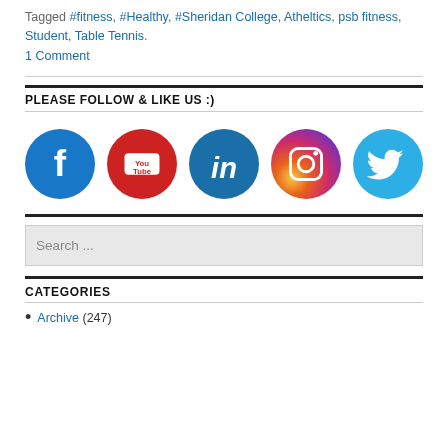Tagged #fitness, #Healthy, #Sheridan College, Atheltics, psb fitness, Student, Table Tennis.
1 Comment
PLEASE FOLLOW & LIKE US :)
[Figure (illustration): Five social media icons in circles: Facebook (dark blue), YouTube (red), LinkedIn (blue), Instagram (gradient purple-orange), Twitter (light blue)]
CATEGORIES
Archive (247)